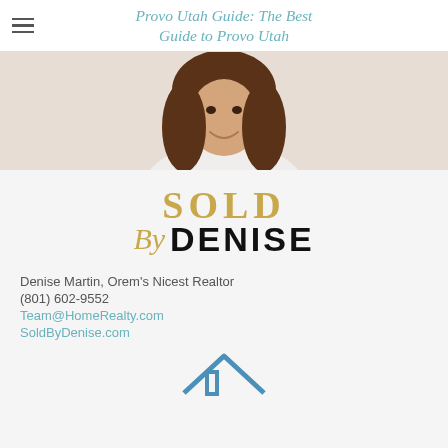Provo Utah Guide: The Best Guide to Provo Utah
[Figure (photo): Photo of Denise Martin, a woman with brown hair wearing a white top, smiling. Photo is cropped from the shoulders up.]
[Figure (logo): Sold By Denise logo. 'SOLD' in large gold serif letters, 'By' in gold italic script, 'DENISE' in large bold black sans-serif letters.]
Denise Martin, Orem's Nicest Realtor
(801) 602-9552
Team@HomeRealty.com
SoldByDenise.com
[Figure (logo): Partial view of a blue house/roof icon at the bottom of the page.]